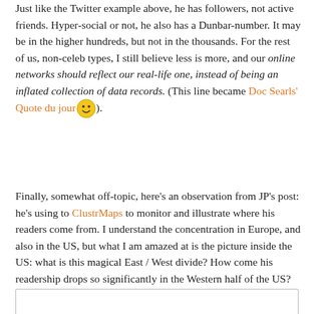Just like the Twitter example above, he has followers, not active friends. Hyper-social or not, he also has a Dunbar-number. It may be in the higher hundreds, but not in the thousands. For the rest of us, non-celeb types, I still believe less is more, and our online networks should reflect our real-life one, instead of being an inflated collection of data records. (This line became Doc Searls' Quote du jour 😊).
Finally, somewhat off-topic, here's an observation from JP's post: he's using to ClustrMaps to monitor and illustrate where his readers come from. I understand the concentration in Europe, and also in the US, but what I am amazed at is the picture inside the US: what is this magical East / West divide? How come his readership drops so significantly in the Western half of the US?
[Figure (other): A blank white box with a thin gray border, partially visible at bottom of page.]